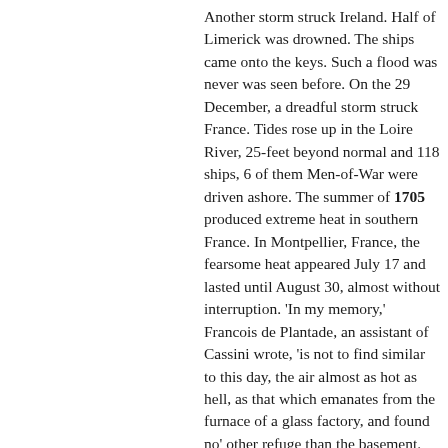Another storm struck Ireland. Half of Limerick was drowned. The ships came onto the keys. Such a flood was never was seen before. On the 29 December, a dreadful storm struck France. Tides rose up in the Loire River, 25-feet beyond normal and 118 ships, 6 of them Men-of-War were driven ashore. The summer of 1705 produced extreme heat in southern France. In Montpellier, France, the fearsome heat appeared July 17 and lasted until August 30, almost without interruption. 'In my memory,' Francois de Plantade, an assistant of Cassini wrote, 'is not to find similar to this day, the air almost as hot as hell, as that which emanates from the furnace of a glass factory, and found no' other refuge than the basement. Everyone was choking and took refuge in the cellars. At